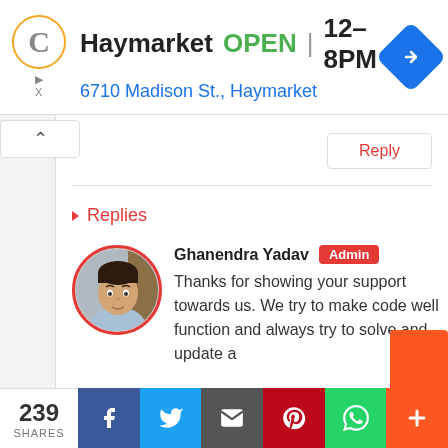[Figure (screenshot): Google Maps ad banner showing: Logo with 'C' in orange circle, location name 'Haymarket', status 'OPEN', hours '12-8PM', address '6710 Madison St., Haymarket', and blue navigation arrow icon]
Reply
▾ Replies
[Figure (photo): Circular profile photo of Ghanendra Yadav with red border, showing a man in a light blue shirt]
Ghanendra Yadav Admin
Thanks for showing your support towards us. We try to make code well function and always try to solve and update a
239 SHARES